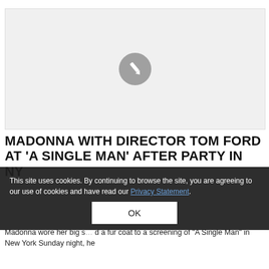[Figure (photo): Placeholder image with grey pencil/edit icon in center on light grey background]
MADONNA WITH DIRECTOR TOM FORD AT 'A SINGLE MAN' AFTER PARTY IN NY
This site uses cookies. By continuing to browse the site, you are agreeing to our use of cookies and have read our Privacy Statement.
Madonna wore her big s... d a fur coat to a screening of "A Single Man" in New York Sunday night, he